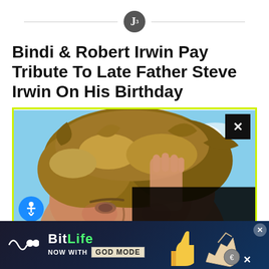J
Bindi & Robert Irwin Pay Tribute To Late Father Steve Irwin On His Birthday
[Figure (photo): Close-up photo of a man (Steve Irwin) with tousled sandy/brown hair against a blue sky background, with a child's hand visible touching his head. A dark overlay with close button appears in the lower right area of the image.]
[Figure (screenshot): BitLife advertisement banner at the bottom. Shows BitLife logo in white and green text, 'NOW WITH GOD MODE' tagline with thumbs up emoji and hand gesture illustration, and close/X buttons.]